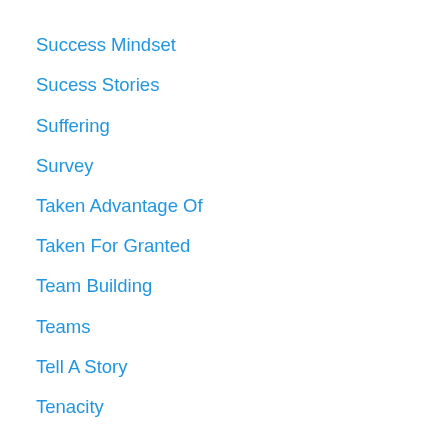Success Mindset
Sucess Stories
Suffering
Survey
Taken Advantage Of
Taken For Granted
Team Building
Teams
Tell A Story
Tenacity